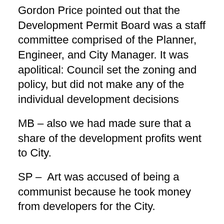Gordon Price pointed out that the Development Permit Board was a staff committee comprised of the Planner, Engineer, and City Manager. It was apolitical: Council set the zoning and policy, but did not make any of the individual development decisions
MB – also we had made sure that a share of the development profits went to City.
SP – Art was accused of being a communist because he took money from developers for the City.
MF – He created the Property Endowment Fund (PEF), which could then be leveraged to get federal and provincial money for social housing.
JW – I just did what Art had started
MB – Art was very good with money. He stopped the